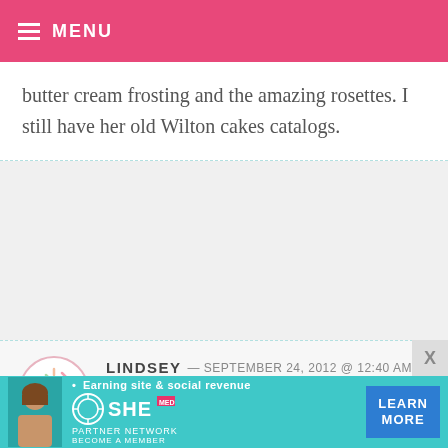MENU
butter cream frosting and the amazing rosettes. I still have her old Wilton cakes catalogs.
LINDSEY — SEPTEMBER 24, 2012 @ 12:40 AM
The Christmas my husband and I were engaged we baked and decorated sugar cookies for all of our friends. This has turned into a tradition and now I LOVE making sugar cookies with our 3 year
[Figure (other): Advertisement banner: SHE Partner Network - Earning site & social revenue. Learn More button.]